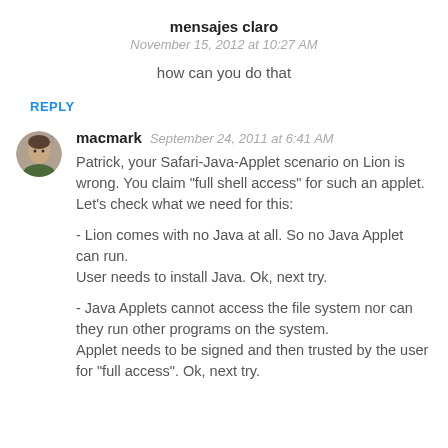mensajes claro
November 15, 2012 at 10:27 AM
how can you do that
REPLY
[Figure (photo): Avatar photo of macmark, a person with short hair, circular crop]
macmark  September 24, 2011 at 6:41 AM
Patrick, your Safari-Java-Applet scenario on Lion is wrong. You claim "full shell access" for such an applet. Let's check what we need for this:

- Lion comes with no Java at all. So no Java Applet can run.
User needs to install Java. Ok, next try.

- Java Applets cannot access the file system nor can they run other programs on the system.
Applet needs to be signed and then trusted by the user for "full access". Ok, next try.